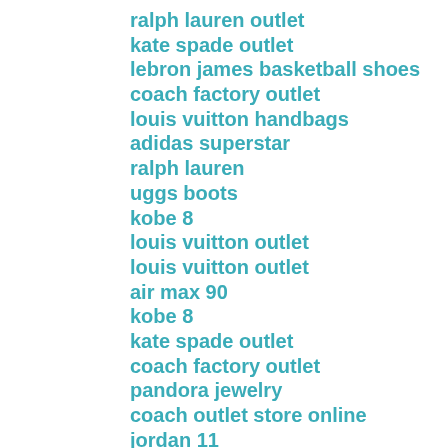ralph lauren outlet
kate spade outlet
lebron james basketball shoes
coach factory outlet
louis vuitton handbags
adidas superstar
ralph lauren
uggs boots
kobe 8
louis vuitton outlet
louis vuitton outlet
air max 90
kobe 8
kate spade outlet
coach factory outlet
pandora jewelry
coach outlet store online
jordan 11
abercrombie clothing
air max 95
tory burch outlet online
oakley sunglasses